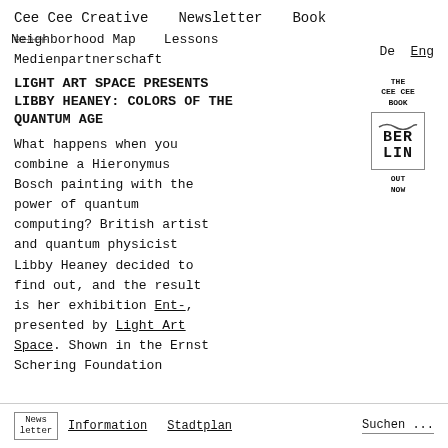Cee Cee Creative   Newsletter   Book
Neighborhood Map   Lessons
Medienpartnerschaft
De  Eng
LIGHT ART SPACE PRESENTS LIBBY HEANEY: COLORS OF THE QUANTUM AGE
What happens when you combine a Hieronymus Bosch painting with the power of quantum computing? British artist and quantum physicist Libby Heaney decided to find out, and the result is her exhibition Ent-, presented by Light Art Space. Shown in the Ernst Schering Foundation
[Figure (logo): THE CEE CEE BOOK logo with BER LIN text in a bordered box, with squiggle decoration. OUT NOW text below.]
News letter   Information   Stadtplan   Suchen ...